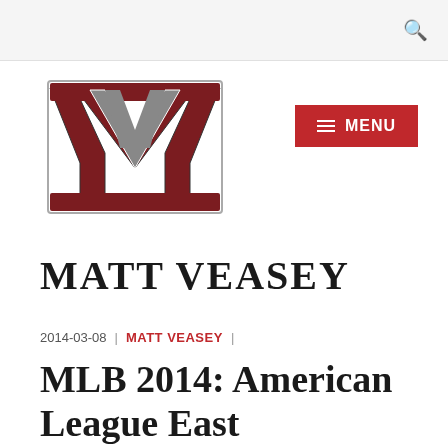[Figure (logo): Matt Veasey site logo — interlocking M and V letters in dark red and gray]
MATT VEASEY
2014-03-08 | MATT VEASEY |
MLB 2014: American League East